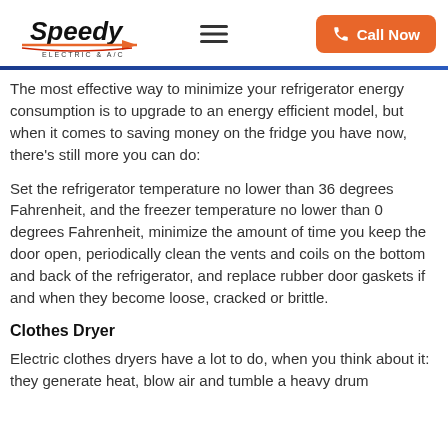Speedy Electric & A/C — Call Now
The most effective way to minimize your refrigerator energy consumption is to upgrade to an energy efficient model, but when it comes to saving money on the fridge you have now, there's still more you can do:
Set the refrigerator temperature no lower than 36 degrees Fahrenheit, and the freezer temperature no lower than 0 degrees Fahrenheit, minimize the amount of time you keep the door open, periodically clean the vents and coils on the bottom and back of the refrigerator, and replace rubber door gaskets if and when they become loose, cracked or brittle.
Clothes Dryer
Electric clothes dryers have a lot to do, when you think about it: they generate heat, blow air and tumble a heavy drum